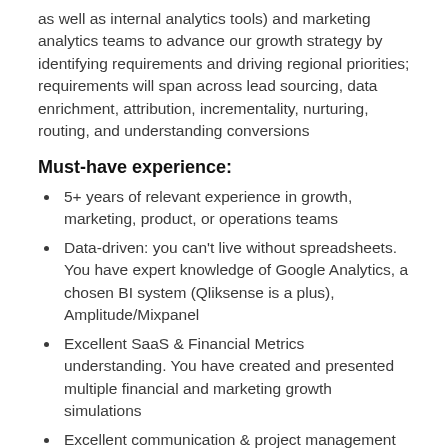as well as internal analytics tools) and marketing analytics teams to advance our growth strategy by identifying requirements and driving regional priorities; requirements will span across lead sourcing, data enrichment, attribution, incrementality, nurturing, routing, and understanding conversions
Must-have experience:
5+ years of relevant experience in growth, marketing, product, or operations teams
Data-driven: you can't live without spreadsheets. You have expert knowledge of Google Analytics, a chosen BI system (Qliksense is a plus), Amplitude/Mixpanel
Excellent SaaS & Financial Metrics understanding. You have created and presented multiple financial and marketing growth simulations
Excellent communication & project management skills
Proven track record of delivering projects